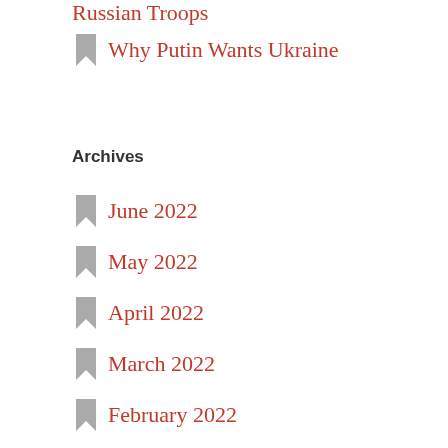Russian Troops
Why Putin Wants Ukraine
Archives
June 2022
May 2022
April 2022
March 2022
February 2022
October 2021
August 2021
June 2021
April 2021